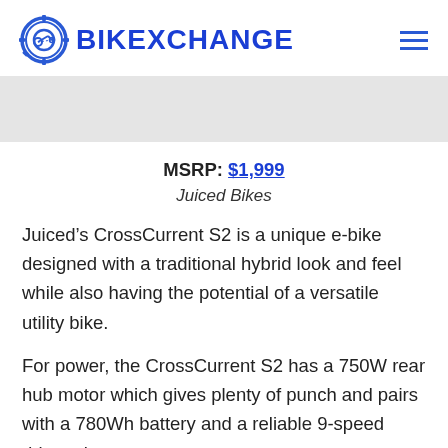BIKEXCHANGE
[Figure (other): Light gray banner/image placeholder area]
MSRP: $1,999
Juiced Bikes
Juiced’s CrossCurrent S2 is a unique e-bike designed with a traditional hybrid look and feel while also having the potential of a versatile utility bike.
For power, the CrossCurrent S2 has a 750W rear hub motor which gives plenty of punch and pairs with a 780Wh battery and a reliable 9-speed drivetrain